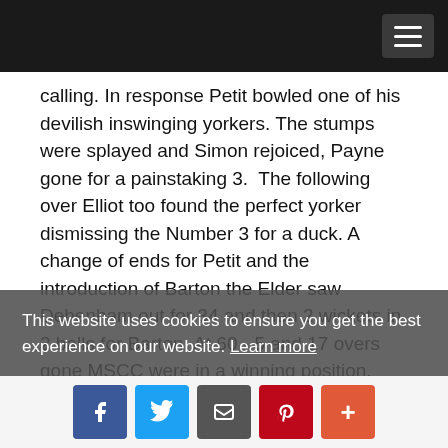[Navigation bar with hamburger menu]
calling. In response Petit bowled one of his devilish inswinging yorkers. The stumps were splayed and Simon rejoiced, Payne gone for a painstaking 3.  The following over Elliot too found the perfect yorker dismissing the Number 3 for a duck. A change of ends for Petit and the introduction of Barton the Elder saw Debenham out for 34 and then 2 wickets in 2 balls for Barton. At 60 - 5 and 17 overs gone MSCC were in a winning position. New to the crease was Easterbrooke, a younger player, clearly a little nervous and Tinson, bearded and confident. The per-experience of just 1 Tinson took the last adult overs. Although Tinson showed him scant respect, the contest between G Floyd and Easterbrook was
This website uses cookies to ensure you get the best experience on our website. Learn more
[Social share buttons: Facebook, Twitter, Email, Pinterest, More]